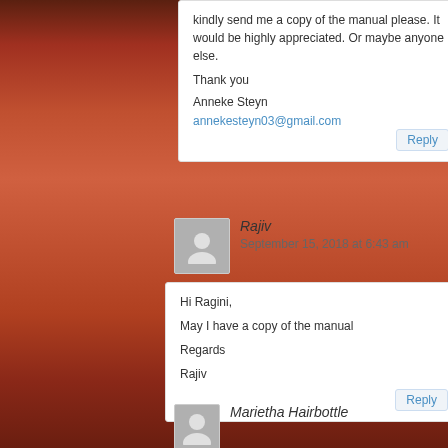kindly send me a copy of the manual please. It would be highly appreciated. Or maybe anyone else.

Thank you

Anneke Steyn
annekesteyn03@gmail.com
Rajiv
September 15, 2018 at 6:43 am
Hi Ragini,

May I have a copy of the manual

Regards

Rajiv
Marietha Hairbottle